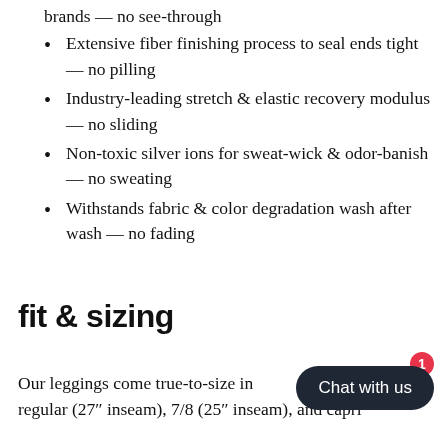brands — no see-through
Extensive fiber finishing process to seal ends tight — no pilling
Industry-leading stretch & elastic recovery modulus — no sliding
Non-toxic silver ions for sweat-wick & odor-banish — no sweating
Withstands fabric & color degradation wash after wash — no fading
fit & sizing
Our leggings come true-to-size in regular (27″ inseam), 7/8 (25″ inseam), and capri